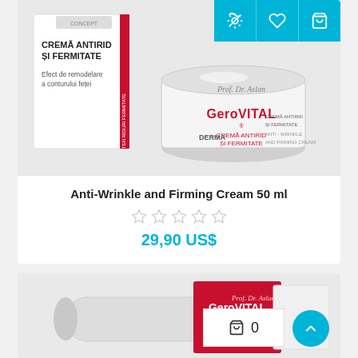[Figure (photo): Gerovital Derma Anti-Wrinkle and Firming Cream product photo showing jar and packaging box with 3 action icon buttons (refresh, heart, bag) in cyan/blue at top right]
Anti-Wrinkle and Firming Cream 50 ml
[Figure (other): 5 empty/unfilled star rating icons in gray]
29,90 US$
[Figure (photo): Second Gerovital Derma product (tube and box) partially visible at bottom of page, with scroll-to-top cyan button and cart badge showing 0]